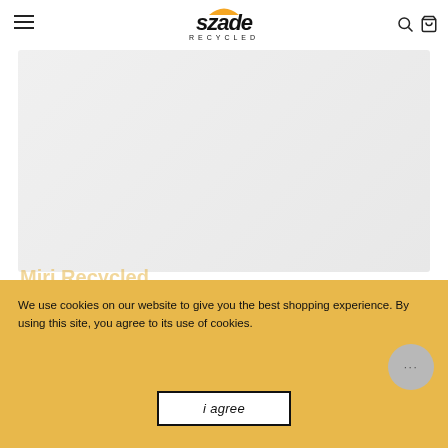Szade Recycled
[Figure (photo): Main product image area showing sunglasses on white/light grey background]
[Figure (photo): Thumbnail 1: Red/brown cat-eye sunglasses front view, selected]
[Figure (photo): Thumbnail 2: Person wearing sunglasses, grey jacket]
[Figure (photo): Thumbnail 3: Sunglasses front view]
[Figure (photo): Thumbnail 4: Sunglasses side/temple view]
[Figure (photo): Thumbnail 5: Sunglasses angled view]
$69.95
or 4 interest-free payments with afterpay
We use cookies on our website to give you the best shopping experience. By using this site, you agree to its use of cookies.
i agree